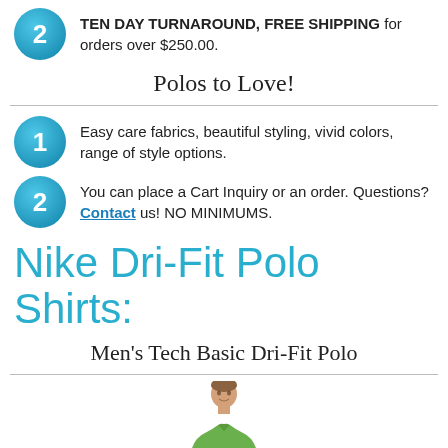2 TEN DAY TURNAROUND, FREE SHIPPING for orders over $250.00.
Polos to Love!
1 Easy care fabrics, beautiful styling, vivid colors, range of style options.
2 You can place a Cart Inquiry or an order. Questions? Contact us! NO MINIMUMS.
Nike Dri-Fit Polo Shirts:
Men's Tech Basic Dri-Fit Polo
[Figure (photo): Man wearing a green polo shirt, shown from the waist up]